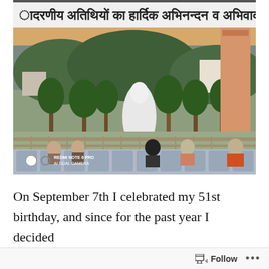[Figure (photo): Outdoor photograph taken at a riverside Hindu temple/ghat in India. A Hindi language banner at the top reads 'aadarniya atithiyon ka hardik abhinandan va abhivadan' (Warm welcome to respected guests). The scene shows a large white statue of Lord Shiva seated by the river, surrounded by trees, with people seated in the foreground viewing the statue. A decorated orange pillar is visible on the right. The river and green hills are visible in the background. In the bottom-left corner: Redmi Note 6 Pro AI Dual Camera watermark.]
On September 7th I celebrated my 51st birthday, and since for the past year I decided
Follow ...